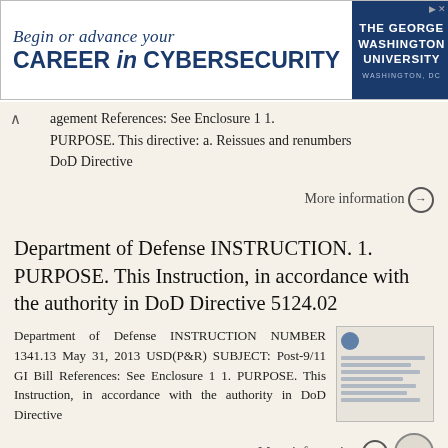[Figure (other): Advertisement banner for The George Washington University cybersecurity program. Text: 'Begin or advance your CAREER in CYBERSECURITY' with GWU logo on the right.]
agement References: See Enclosure 1 1. PURPOSE. This directive: a. Reissues and renumbers DoD Directive
More information →
Department of Defense INSTRUCTION. 1. PURPOSE. This Instruction, in accordance with the authority in DoD Directive 5124.02
Department of Defense INSTRUCTION NUMBER 1341.13 May 31, 2013 USD(P&R) SUBJECT: Post-9/11 GI Bill References: See Enclosure 1 1. PURPOSE. This Instruction, in accordance with the authority in DoD Directive
More information →